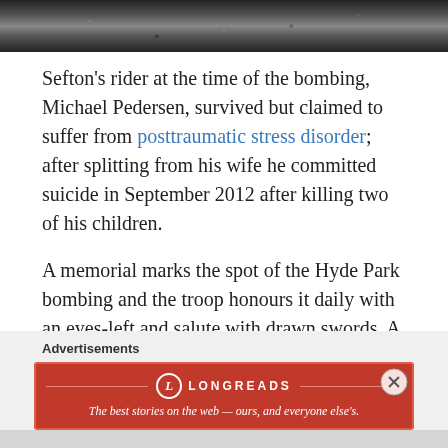[Figure (photo): Black and white photograph strip at top of page, showing a scene related to the Hyde Park bombing.]
Sefton's rider at the time of the bombing, Michael Pedersen, survived but claimed to suffer from posttraumatic stress disorder; after splitting from his wife he committed suicide in September 2012 after killing two of his children.
A memorial marks the spot of the Hyde Park bombing and the troop honours it daily with an eyes-left and salute with drawn swords. A plaque commemorating the victims of the second attack also stands in Regent's Park.
——————————————
Advertisements
[Figure (other): Longreads advertisement banner in red with logo and tagline: The best stories on the web — ours, and everyone else's.]